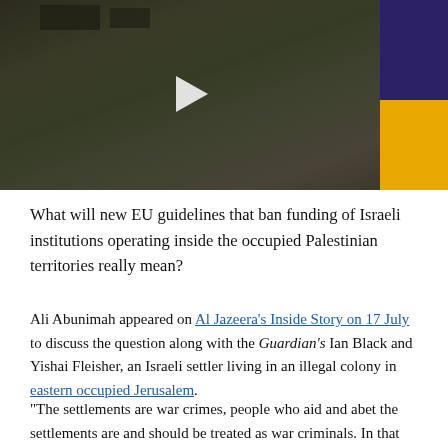[Figure (photo): Photograph of a hillside settlement/landscape with buildings visible, overlaid with a dark tonal wash. On the right side is a purple/indigo banner reading 'SIDE' and a gold/yellow banner reading 'ORY', forming part of 'INSIDE STORY'. A play button triangle is visible in the center.]
What will new EU guidelines that ban funding of Israeli institutions operating inside the occupied Palestinian territories really mean?
Ali Abunimah appeared on Al Jazeera's Inside Story on 17 July to discuss the question along with the Guardian's Ian Black and Yishai Fleisher, an Israeli settler living in an illegal colony in eastern occupied Jerusalem.
“The settlements are war crimes, people who aid and abet the settlements are and should be treated as war criminals. In that context, this European move is very small, very little and very late,” Abunimah said.